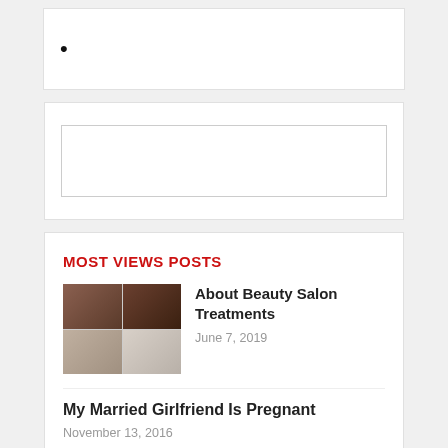•
[Figure (other): Empty input/search box widget]
MOST VIEWS POSTS
[Figure (photo): Collage of four beauty salon treatment photos]
About Beauty Salon Treatments
June 7, 2019
My Married Girlfriend Is Pregnant
November 13, 2016
[Figure (photo): Partially visible photo at bottom]